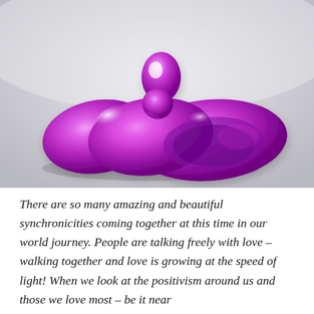[Figure (photo): A shiny metallic purple/violet abstract sculpture resembling a reclining figure or organic form, photographed against a light grey background. The sculpture has a rounded, bulbous shape with a protrusion at the top and a wide spoon-like hollow on the right side.]
There are so many amazing and beautiful synchronicities coming together at this time in our world journey. People are talking freely with love – walking together and love is growing at the speed of light! When we look at the positivism around us and those we love most – be it near